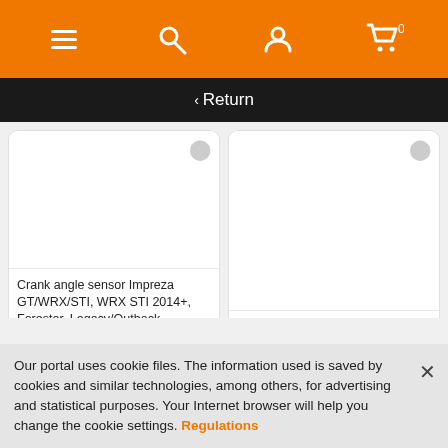[Figure (screenshot): Mobile e-commerce website navigation bar with hamburger menu, search, account, and cart icons on orange background]
Return
[Figure (photo): Product card for Crank angle sensor Impreza GT/WRX/STI, WRX STI 2014+, Forester, Legacy/Outback, priced at 79,03 EUR]
[Figure (photo): Product card for Turbo timer Blitz FATT Advance+ priced at 162,13 EUR]
Our portal uses cookie files. The information used is saved by cookies and similar technologies, among others, for advertising and statistical purposes. Your Internet browser will help you change the cookie settings. Regulations